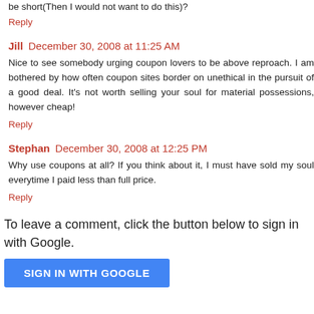be short(Then I would not want to do this)?
Reply
Jill  December 30, 2008 at 11:25 AM
Nice to see somebody urging coupon lovers to be above reproach. I am bothered by how often coupon sites border on unethical in the pursuit of a good deal. It's not worth selling your soul for material possessions, however cheap!
Reply
Stephan  December 30, 2008 at 12:25 PM
Why use coupons at all? If you think about it, I must have sold my soul everytime I paid less than full price.
Reply
To leave a comment, click the button below to sign in with Google.
SIGN IN WITH GOOGLE